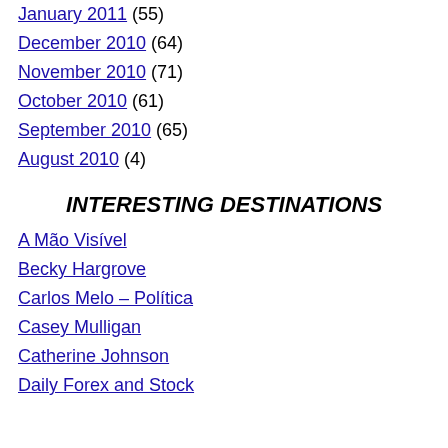January 2011 (55)
December 2010 (64)
November 2010 (71)
October 2010 (61)
September 2010 (65)
August 2010 (4)
INTERESTING DESTINATIONS
A Mão Visível
Becky Hargrove
Carlos Melo – Política
Casey Mulligan
Catherine Johnson
Daily Forex and Stock